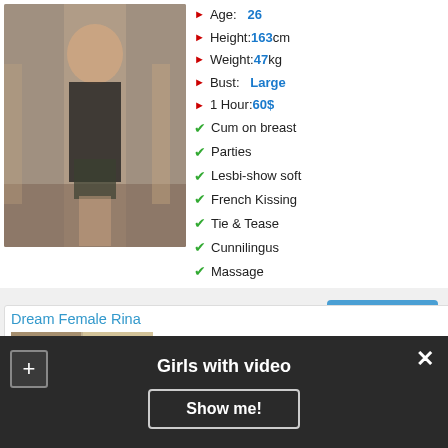[Figure (photo): Mirror selfie of a young woman in a black top and patterned shorts]
Age: 26
Height: 163 cm
Weight: 47 kg
Bust: Large
1 Hour: 60$
Cum on breast
Parties
Lesbi-show soft
French Kissing
Tie & Tease
Cunnilingus
Massage
More photo
Dream Female Rina
VIDEO WITH A WOMAN
Girls with video
Show me!